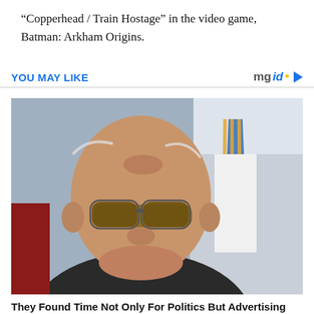“Copperhead / Train Hostage” in the video game, Batman: Arkham Origins.
YOU MAY LIKE
[Figure (photo): Elderly bald man with sunglasses wearing a dark jacket, with another man in a blue and orange striped tie visible in the background.]
They Found Time Not Only For Politics But Advertising